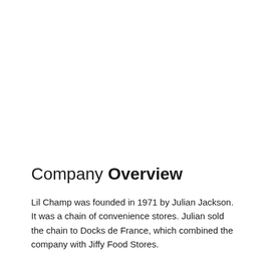Company Overview
Lil Champ was founded in 1971 by Julian Jackson. It was a chain of convenience stores. Julian sold the chain to Docks de France, which combined the company with Jiffy Food Stores.